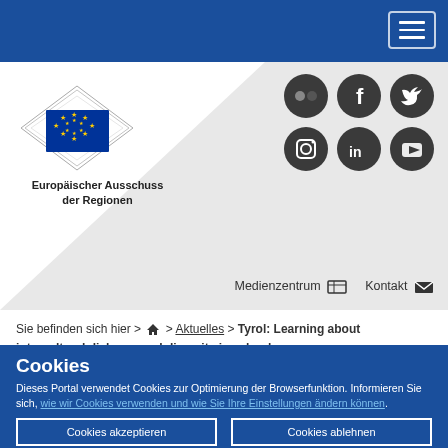Europäischer Ausschuss der Regionen — navigation bar
[Figure (logo): Europäischer Ausschuss der Regionen logo with EU flag emblem and diamond ornament border]
Europäischer Ausschuss der Regionen
[Figure (infographic): Social media icons: Flickr, Facebook, Twitter, Instagram, LinkedIn, YouTube — dark circular buttons]
Medienzentrum  Kontakt
Sie befinden sich hier >  > Aktuelles > Tyrol: Learning about intercultural dialogue and diversity in schools
Cookies
Dieses Portal verwendet Cookies zur Optimierung der Browserfunktion. Informieren Sie sich, wie wir Cookies verwenden und wie Sie Ihre Einstellungen ändern können.
Cookies akzeptieren
Cookies ablehnen